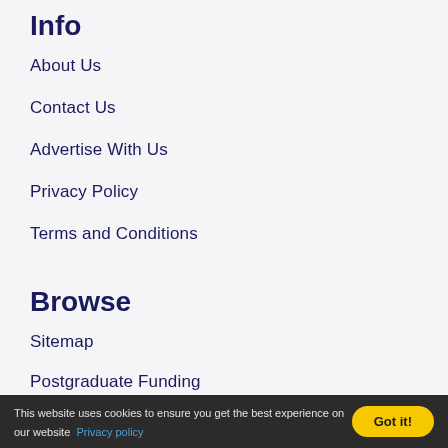Info
About Us
Contact Us
Advertise With Us
Privacy Policy
Terms and Conditions
Browse
Sitemap
Postgraduate Funding
UK Universities
Masters Programs
This website uses cookies to ensure you get the best experience on our website Privacy policy Got it!